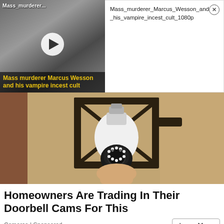[Figure (screenshot): Video thumbnail showing a man with long dark hair and beard, grayscale image, with play button overlay and yellow caption text reading 'Mass murderer Marcus Wesson and his vampire incest cult'. Top left label reads 'Mass_murderer...']
Mass_murderer_Marcus_Wesson_and_his_vampire_incest_cult_1080p
[Figure (photo): Photo of a security camera shaped like a light bulb, mounted in a black outdoor lantern fixture on a textured stucco wall. A hand is holding/installing the camera-bulb.]
Homeowners Are Trading In Their Doorbell Cams For This
Camerca | Sponsored